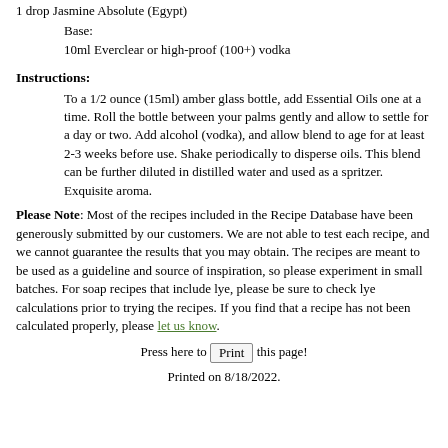1 drop Jasmine Absolute (Egypt)
Base:
10ml Everclear or high-proof (100+) vodka
Instructions:
To a 1/2 ounce (15ml) amber glass bottle, add Essential Oils one at a time. Roll the bottle between your palms gently and allow to settle for a day or two. Add alcohol (vodka), and allow blend to age for at least 2-3 weeks before use. Shake periodically to disperse oils. This blend can be further diluted in distilled water and used as a spritzer. Exquisite aroma.
Please Note: Most of the recipes included in the Recipe Database have been generously submitted by our customers. We are not able to test each recipe, and we cannot guarantee the results that you may obtain. The recipes are meant to be used as a guideline and source of inspiration, so please experiment in small batches. For soap recipes that include lye, please be sure to check lye calculations prior to trying the recipes. If you find that a recipe has not been calculated properly, please let us know.
Press here to Print this page!
Printed on 8/18/2022.